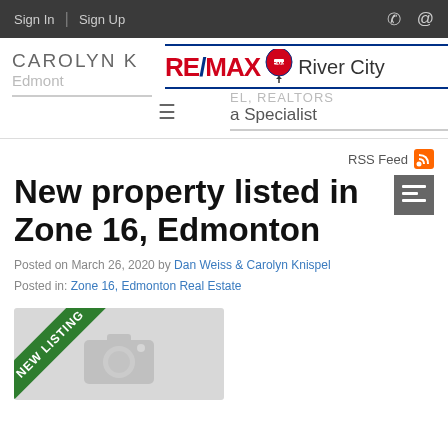Sign In | Sign Up
[Figure (logo): RE/MAX River City logo with red RE/MAX text and balloon icon]
CAROLYN K
Edmonton
REALTORS
a Specialist
New property listed in Zone 16, Edmonton
Posted on March 26, 2020 by Dan Weiss & Carolyn Knispel
Posted in: Zone 16, Edmonton Real Estate
[Figure (photo): NEW LISTING ribbon over a photo placeholder with camera icon]